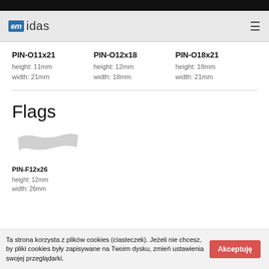emidas
PIN-O11x21
height: 11mm
width: 21mm
PIN-O12x18
height: 12mm
width: 18mm
PIN-O18x21
height: 18mm
width: 21mm
Flags
[Figure (photo): A flag-shaped pin product image in light gray]
PIN-F12x26
height: 12mm
width: 26mm
Ta strona korzysta z plików cookies (ciasteczek). Jeżeli nie chcesz, by pliki cookies były zapisywane na Twoim dysku, zmień ustawienia swojej przeglądarki.